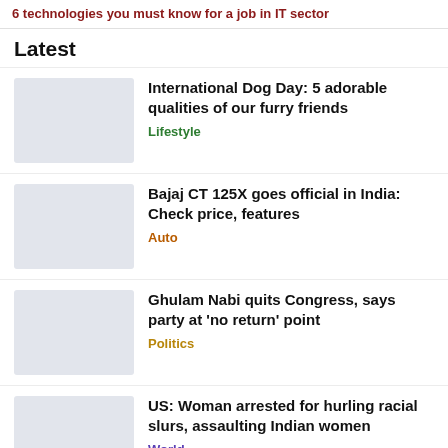6 technologies you must know for a job in IT sector
Latest
International Dog Day: 5 adorable qualities of our furry friends | Lifestyle
Bajaj CT 125X goes official in India: Check price, features | Auto
Ghulam Nabi quits Congress, says party at 'no return' point | Politics
US: Woman arrested for hurling racial slurs, assaulting Indian women | World
#ViralVideo: How to ...